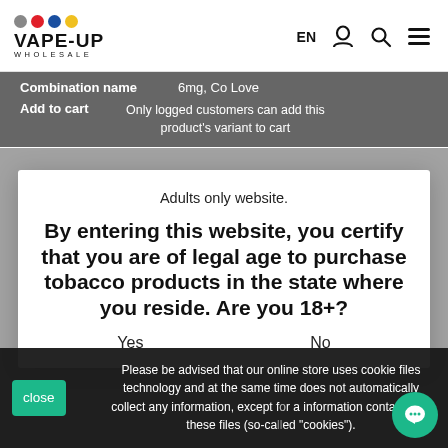[Figure (logo): Vape-Up Wholesale logo with colored dots (gray, red, blue, yellow) and bold text 'VAPE-UP' with 'WHOLESALE' below]
EN [user icon] [search icon] [hamburger menu]
| Combination name | 6mg, Co Love |
| Add to cart | Only logged customers can add this product's variant to cart |
Adults only website.
By entering this website, you certify that you are of legal age to purchase tobacco products in the state where you reside. Are you 18+?
Yes    No
Please be advised that our online store uses cookie files technology and at the same time does not automatically collect any information, except for a information contained in these files (so-called "cookies").
close